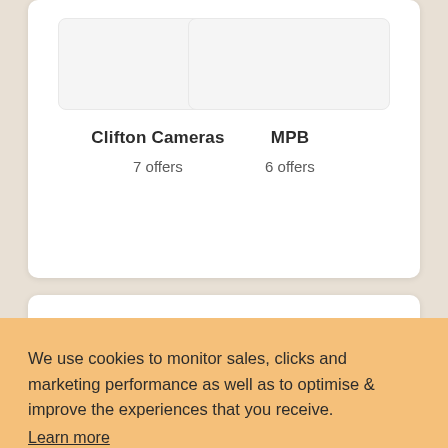Clifton Cameras
7 offers
MPB
6 offers
We use cookies to monitor sales, clicks and marketing performance as well as to optimise & improve the experiences that you receive.
Learn more
GOT IT!
need to click on the "GET CODE"